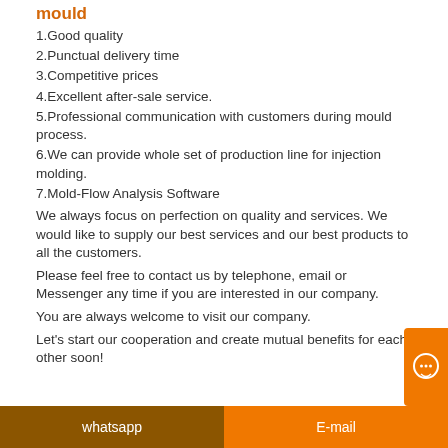mould
1.Good quality
2.Punctual delivery time
3.Competitive prices
4.Excellent after-sale service.
5.Professional communication with customers during mould process.
6.We can provide whole set of production line for injection molding.
7.Mold-Flow Analysis Software
We always focus on perfection on quality and services. We would like to supply our best services and our best products to all the customers.
Please feel free to contact us by telephone, email or Messenger any time if you are interested in our company.
You are always welcome to visit our company.
Let's start our cooperation and create mutual benefits for each other soon!
whatsapp    E-mail